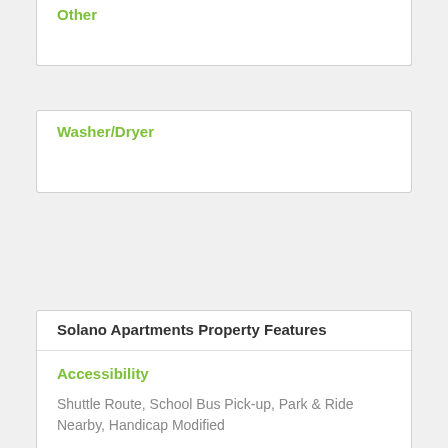Other
Washer/Dryer
Solano Apartments Property Features
Accessibility
Shuttle Route, School Bus Pick-up, Park & Ride Nearby, Handicap Modified
Entertainment
BBQ Grills / Picnic, Clubhouse, Playground, Social Activities